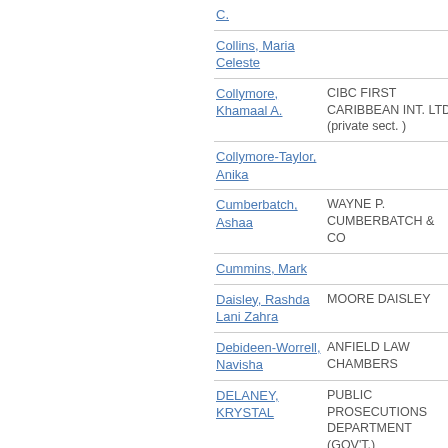| Name | Organisation |
| --- | --- |
| [...], C. |  |
| Collins, Maria Celeste |  |
| Collymore, Khamaal A. | CIBC FIRST CARIBBEAN INT. LTD (private sect. ) |
| Collymore-Taylor, Anika |  |
| Cumberbatch, Ashaa | WAYNE P. CUMBERBATCH & CO |
| Cummins, Mark |  |
| Daisley, Rashda Lani Zahra | MOORE DAISLEY |
| Debideen-Worrell, Navisha | ANFIELD LAW CHAMBERS |
| DELANEY, KRYSTAL | PUBLIC PROSECUTIONS DEPARTMENT (GOV'T.) |
| Denny, Lorimer C.A. | INSURANCE CORPORATION OF BARBADOS |